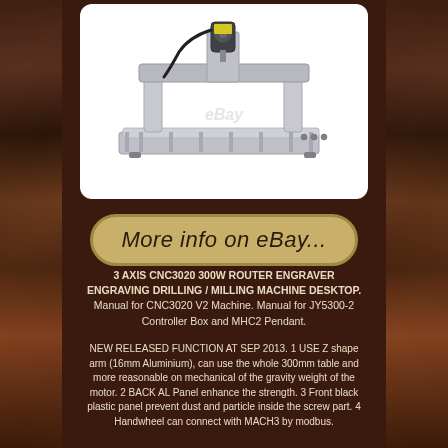[Figure (photo): CNC3020 router engraver milling machine on white background with eBay watermark. Silver aluminum frame desktop machine with spindle motor visible.]
More info on eBay...
3 AXIS CNC3020 300W ROUTER ENGRAVER ENGRAVING DRILLING / MILLING MACHINE DESKTOP. Manual for CNC3020 V2 Machine. Manual for JY5300-2 Controller Box and MHC2 Pendant.
NEW RELEASED FUNCTION AT SEP 2013. 1 USE Z shape arm (16mm Aluminium), can use the whole 300mm table and more reasonable on mechanical of the gravity weight of the motor. 2 BACK AL Panel enhance the strength. 3 Front black plastic panel prevent dust and particle inside the screw part. 4 Handwheel can connect with MACH3 by modbus.
5 Can upgrade to 3D printer by just add a 3d extruder f...